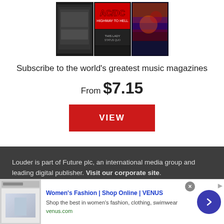[Figure (photo): Music magazine covers including AC/DC Highway to Hell, This Lady, Status Quo]
Subscribe to the world's greatest music magazines
From $7.15
VIEW
Louder is part of Future plc, an international media group and leading digital publisher. Visit our corporate site.
About Us
[Figure (infographic): Advertisement: Women's Fashion | Shop Online | VENUS. Shop the best in women's fashion, clothing, swimwear. venus.com]